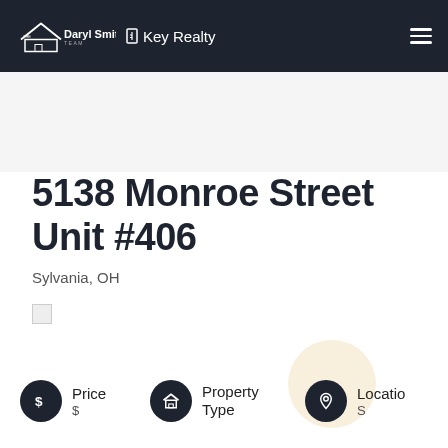The Daryl Smith Team | Key Realty
5138 Monroe Street Unit #406
Sylvania, OH
[Figure (illustration): Broken image placeholder icon]
Price | Property Type | Location